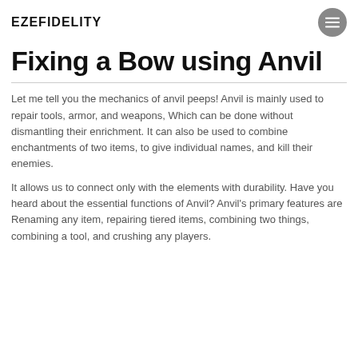EZEFIDELITY
Fixing a Bow using Anvil
Let me tell you the mechanics of anvil peeps! Anvil is mainly used to repair tools, armor, and weapons, Which can be done without dismantling their enrichment. It can also be used to combine enchantments of two items, to give individual names, and kill their enemies.
It allows us to connect only with the elements with durability. Have you heard about the essential functions of Anvil? Anvil's primary features are Renaming any item, repairing tiered items, combining two things, combining a tool, and crushing any players.